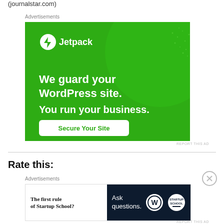(journalstar.com)
Advertisements
[Figure (illustration): Jetpack advertisement: green background with large circle and dot pattern. White Jetpack logo and name at top left. Text reads 'We guard your WordPress site. You run your business.' White rounded button labeled 'Secure Your Site' in green text.]
REPORT THIS AD
Rate this:
Advertisements
[Figure (illustration): Bottom advertisement split into two panels. Left white panel with bold serif text: 'The first rule of Startup School?' Right dark navy panel with text 'Ask questions.' and WordPress and Startup School logos.]
REPORT THIS AD